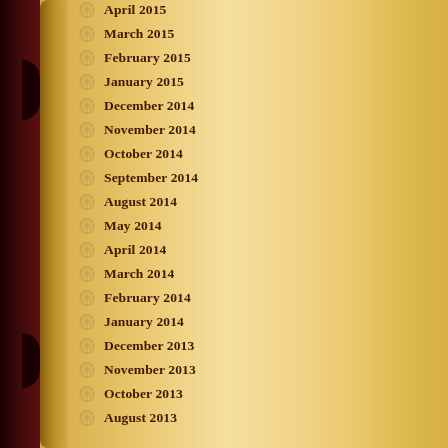April 2015
March 2015
February 2015
January 2015
December 2014
November 2014
October 2014
September 2014
August 2014
May 2014
April 2014
March 2014
February 2014
January 2014
December 2013
November 2013
October 2013
August 2013
[Figure (illustration): Comic strip panels showing characters from Archie comics. Top panel: outdoor scene with speech bubble saying OKAY, AUNT AGGIE. Bottom panel: character thinking about looking like a cow, orange speech bubble saying NOW, WHAT WAS IT I WANTED FOR MYSELF? AH, YES! Woman in pink shown below.]